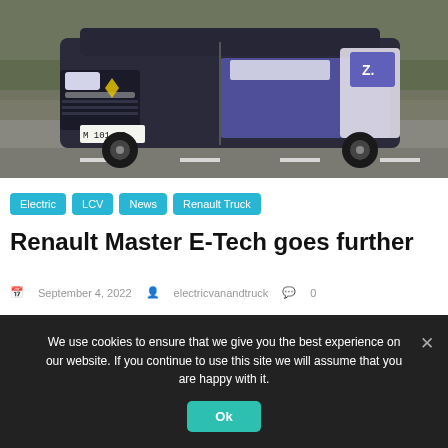[Figure (photo): Dark electric van (Renault Trucks Master Z.E.) driving on a road, photographed from the front-left angle. The vehicle is dark grey/black with white and purple livery, showing the Renault logo. Background shows a blurred road scene.]
Electric
LCV
News
Renault Truck
Renault Master E-Tech goes further
September 4, 2022  electricvanandtruck  0
The all-electric Renault Trucks Master Z.E. has been equipped with new 52kWh batteries. This capacity increases the vehicle’s effective range
We use cookies to ensure that we give you the best experience on our website. If you continue to use this site we will assume that you are happy with it.